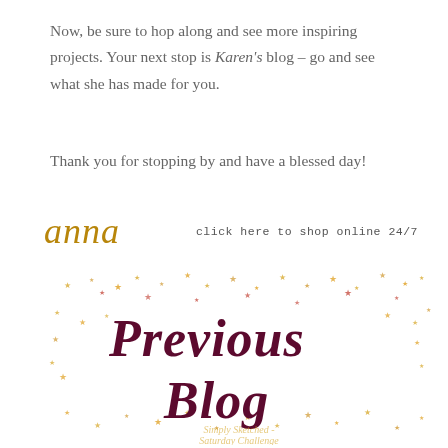Now, be sure to hop along and see more inspiring projects. Your next stop is Karen's blog – go and see what she has made for you.
Thank you for stopping by and have a blessed day!
Anna
click here to shop online 24/7
[Figure (illustration): A decorative banner image with scattered gold and red stars background, purple/dark red hand-lettered cursive text reading 'Previous Blog', with a watermark 'Simply Sketched - Saturday Challenge' in light gold at the bottom.]